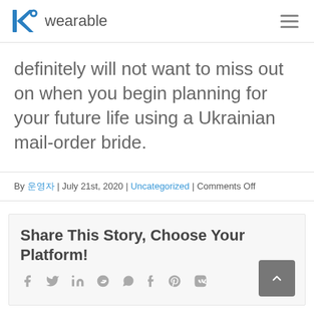KC wearable
definitely will not want to miss out on when you begin planning for your future life using a Ukrainian mail-order bride.
By 운영자 | July 21st, 2020 | Uncategorized | Comments Off
Share This Story, Choose Your Platform!
[Figure (infographic): Social sharing icons: facebook, twitter, linkedin, reddit, whatsapp, tumblr, pinterest, vk]